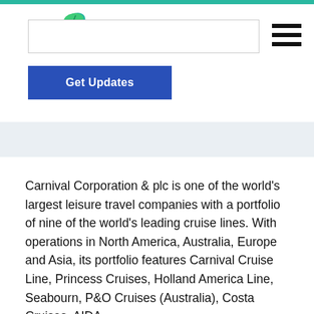[Figure (logo): Passiv logo with green leaf icon and bold black text]
[Figure (other): Blue 'Get Updates' button]
Carnival Corporation & plc is one of the world's largest leisure travel companies with a portfolio of nine of the world's leading cruise lines. With operations in North America, Australia, Europe and Asia, its portfolio features Carnival Cruise Line, Princess Cruises, Holland America Line, Seabourn, P&O Cruises (Australia), Costa Cruises, AIDA